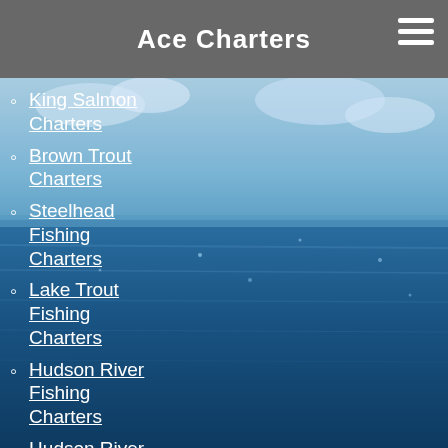Ace Charters
[Figure (illustration): Ocean water background with blue sky and water surface visible, used as the full-page background image]
King Salmon Charters
Brown Trout Charters
Steelhead Fishing Charters
Lake Trout Fishing Charters
Hudson River Fishing Charters
Hudson River Striper Fishing Reports
Hudson River Fishing Photo Gallery
Enjoy Our Lake Ontario and Hudson River Fishing